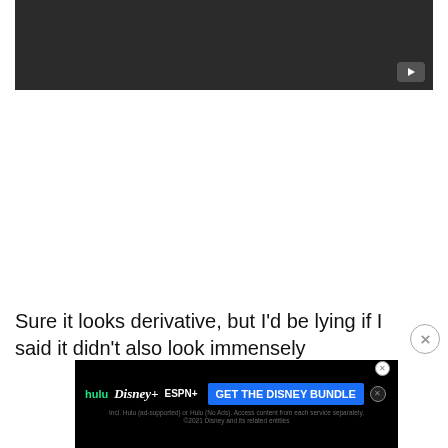[Figure (screenshot): Dark video player thumbnail with a play button icon in the bottom-right corner]
Sure it looks derivative, but I'd be lying if I said it didn't also look immensely entertaining. It's unclear if the workplace setting – an American comp[any] ... [become] kind [of]
[Figure (screenshot): Disney Bundle advertisement banner showing Hulu, Disney+, and ESPN+ logos with 'GET THE DISNEY BUNDLE' call to action button and fine print about subscription terms]